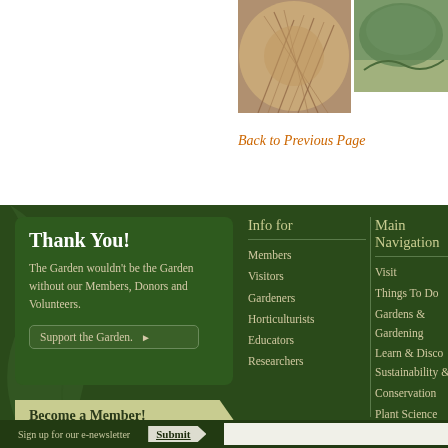[Figure (photo): Ornamental grass close-up, reddish-brown tones]
[Figure (photo): Garden shrub/hedge along a path, green tones]
Back to Previous Page
Thank You!
The Garden wouldn't be the Garden without our Members, Donors and Volunteers.
Support the Garden. ▶
Become a Member! Members get more.
Info for
Members
Visitors
Gardeners
Horticulturists
Educators
Researchers
Main Navigation
Visit
Things To Do
Gardens & Gardening
Learn & Discov...
Sustainability & Conservation
Plant Science
About
Sign up for our e-newsletter
Submit